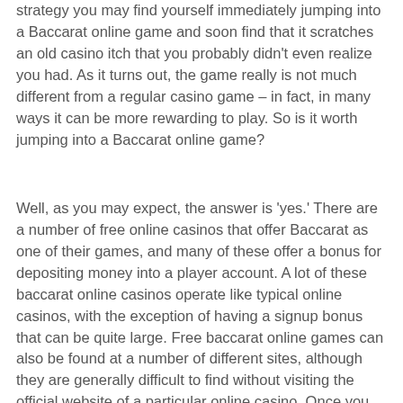strategy you may find yourself immediately jumping into a Baccarat online game and soon find that it scratches an old casino itch that you probably didn't even realize you had. As it turns out, the game really is not much different from a regular casino game – in fact, in many ways it can be more rewarding to play. So is it worth jumping into a Baccarat online game?
Well, as you may expect, the answer is 'yes.' There are a number of free online casinos that offer Baccarat as one of their games, and many of these offer a bonus for depositing money into a player account. A lot of these baccarat online casinos operate like typical online casinos, with the exception of having a signup bonus that can be quite large. Free baccarat online games can also be found at a number of different sites, although they are generally difficult to find without visiting the official website of a particular online casino. Once you do find free baccarat online games, it